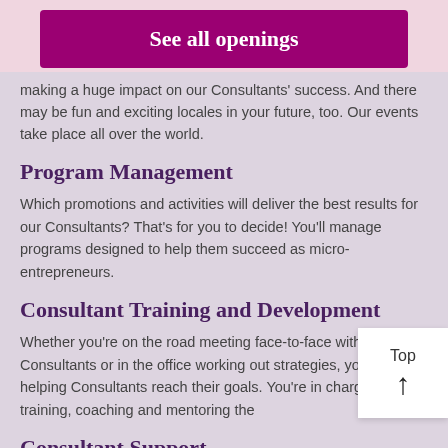[Figure (other): Button labeled 'See all openings' with dark magenta/purple background and white bold text]
making a huge impact on our Consultants' success. And there may be fun and exciting locales in your future, too. Our events take place all over the world.
Program Management
Which promotions and activities will deliver the best results for our Consultants? That's for you to decide! You'll manage programs designed to help them succeed as micro-entrepreneurs.
Consultant Training and Development
Whether you're on the road meeting face-to-face with Consultants or in the office working out strategies, you're helping Consultants reach their goals. You're in charge of training, coaching and mentoring the
Consultant Support
A conversation with & A member of You'll